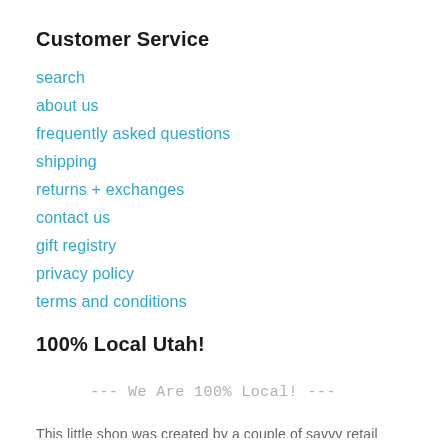Customer Service
search
about us
frequently asked questions
shipping
returns + exchanges
contact us
gift registry
privacy policy
terms and conditions
100% Local Utah!
--- We Are 100% Local! ---
This little shop was created by a couple of savvy retail